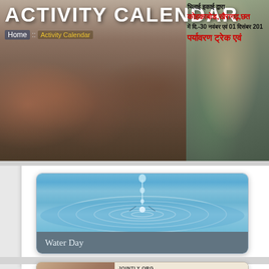ACTIVITY CALENDAR
Home :: Activity Calendar
भिलाई इकाई द्वारा कोहकाबोड,खैरागढ़,छत में दि.-30 नवंबर एवं 01 दिसंबर 201 पर्यावरण ट्रेक एवं
[Figure (photo): Water droplet falling into rippling blue water surface, with caption bar showing 'Water Day']
Water Day
[Figure (photo): Voluntary blood donation event banner with JOINTLY ORG and VOLUNTARY BLOOD text visible, people in background]